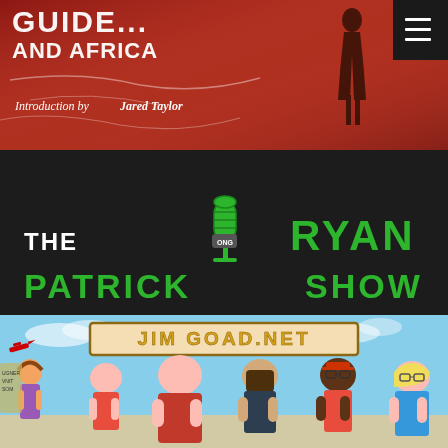[Figure (illustration): Book cover image with red graffiti wall background, white text reading 'GUIDE... AND AFRICA' with 'Introduction by Jared Taylor'. A person silhouette is visible. Menu icon in top right corner on dark background.]
[Figure (logo): The Patrick Ryan Show logo on dark background. Green text reads 'THE PATRICK RYAN SHOW' with a microphone graphic in the center.]
[Figure (illustration): Jim Goad.net website banner. Illustrated cartoon characters across the bottom, blue sky background, and a banner sign reading 'JIM GOAD.NET' in gold letters on a tan background.]